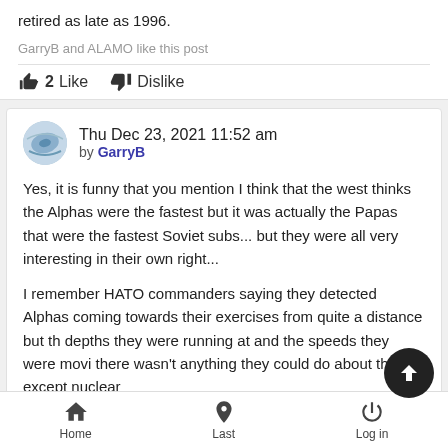retired as late as 1996.
GarryB and ALAMO like this post
2  Like   Dislike
Thu Dec 23, 2021 11:52 am
by GarryB
Yes, it is funny that you mention I think that the west thinks the Alphas were the fastest but it was actually the Papas that were the fastest Soviet subs... but they were all very interesting in their own right...
I remember HATO commanders saying they detected Alphas coming towards their exercises from quite a distance but the depths they were running at and the speeds they were moving there wasn't anything they could do about them except nuclear
Home   Last   Log in